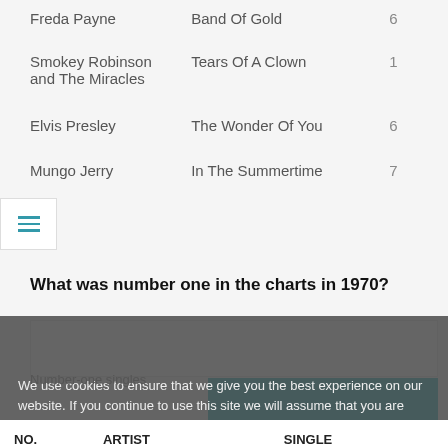| Artist | Song | Weeks at #1 |
| --- | --- | --- |
| Freda Payne | Band Of Gold | 6 |
| Smokey Robinson and The Miracles | Tears Of A Clown | 1 |
| Elvis Presley | The Wonder Of You | 6 |
| Mungo Jerry | In The Summertime | 7 |
What was number one in the charts in 1970?
[Figure (screenshot): Cookie consent banner with promotional ad overlay showing Pro-Papers homework help service with ORDER button and discount badges]
| NO. | ARTIST | SINGLE |
| --- | --- | --- |